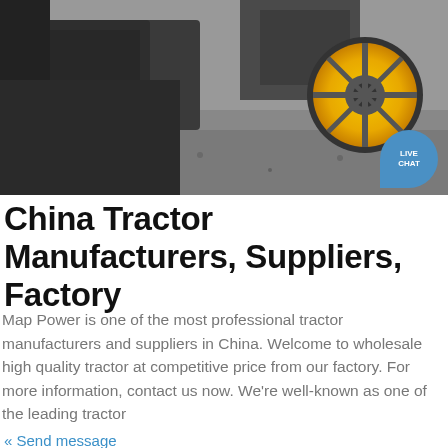[Figure (photo): Close-up photograph of a tractor or construction machine with dark body parts, gravel ground, and a yellow wheel visible in the upper right. A live chat bubble is overlaid in the upper right corner.]
China Tractor Manufacturers, Suppliers, Factory
Map Power is one of the most professional tractor manufacturers and suppliers in China. Welcome to wholesale high quality tractor at competitive price from our factory. For more information, contact us now. We're well-known as one of the leading tractor
« Send message
[Figure (photo): Photograph showing the rear of a tractor with red and amber tail lights on the left side and an orange rotating beacon light on the right side, against a light blue sky background.]